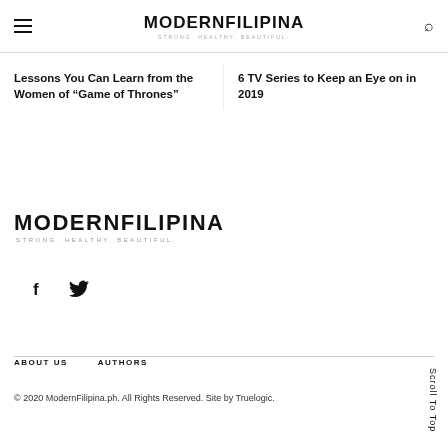MODERNFILIPINA STRONG. HEALTHY. BEAUTIFUL.
Lessons You Can Learn from the Women of “Game of Thrones”
6 TV Series to Keep an Eye on in 2019
[Figure (logo): ModernFilipina logo with tagline STRONG. HEALTHY. BEAUTIFUL.]
[Figure (other): Social media icons: Facebook (f) and Twitter (bird)]
ABOUT US   AUTHORS
© 2020 ModernFilipina.ph. All Rights Reserved. Site by Truelogic.
Scroll To Top